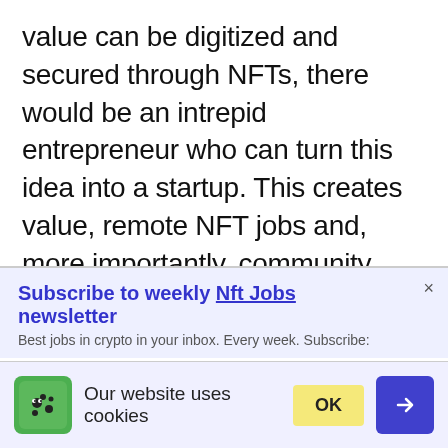value can be digitized and secured through NFTs, there would be an intrepid entrepreneur who can turn this idea into a startup. This creates value, remote NFT jobs and, more importantly, community. Every day is a new opportunity to turn that idea into a company.
If you're interested in knowing about
[Figure (screenshot): Subscribe popup: 'Subscribe to weekly Nft Jobs newsletter' with close X button and partially visible subtitle text]
[Figure (screenshot): Cookie consent banner with green cookie monster icon, text 'Our website uses cookies', yellow OK button, and blue arrow button]